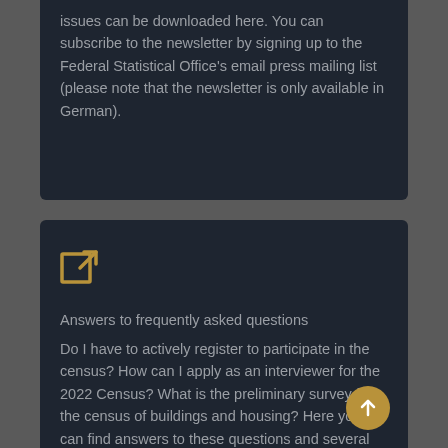issues can be downloaded here. You can subscribe to the newsletter by signing up to the Federal Statistical Office's email press mailing list (please note that the newsletter is only available in German).
[Figure (illustration): External link icon - a square with an arrow pointing up-right, rendered in gold/brown color]
Answers to frequently asked questions
Do I have to actively register to participate in the census? How can I apply as an interviewer for the 2022 Census? What is the preliminary survey for the census of buildings and housing? Here you can find answers to these questions and several others.